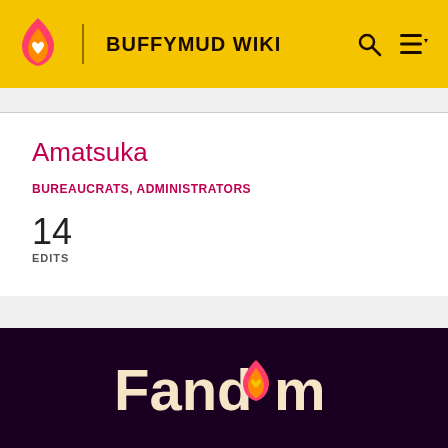BUFFYMUD WIKI
Amatsuka
BUREAUCRATS, ADMINISTRATORS
14
EDITS
[Figure (logo): Fandom logo with flame icon and heart in dark purple footer]
EXPLORE PROPERTIES
Fandom
Futhead